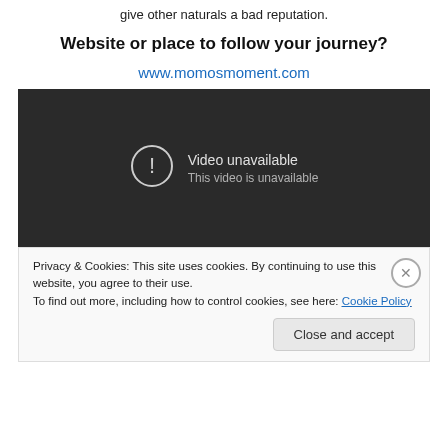give other naturals a bad reputation.
Website or place to follow your journey?
www.momosmoment.com
[Figure (screenshot): Dark video player showing 'Video unavailable' message with exclamation icon and text 'This video is unavailable']
Privacy & Cookies: This site uses cookies. By continuing to use this website, you agree to their use.
To find out more, including how to control cookies, see here: Cookie Policy
Close and accept